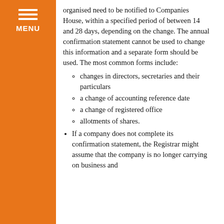[Figure (other): Orange sidebar with hamburger menu icon and MENU label]
organised need to be notified to Companies House, within a specified period of between 14 and 28 days, depending on the change. The annual confirmation statement cannot be used to change this information and a separate form should be used. The most common forms include:
changes in directors, secretaries and their particulars
a change of accounting reference date
a change of registered office
allotments of shares.
If a company does not complete its confirmation statement, the Registrar might assume that the company is no longer carrying on business and...